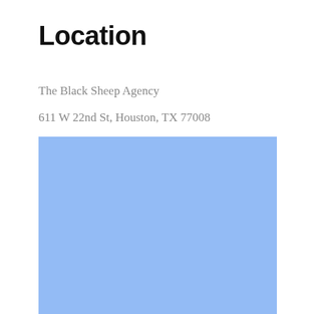Location
The Black Sheep Agency
611 W 22nd St, Houston, TX 77008
[Figure (map): Light blue rectangle representing a map placeholder for the location of The Black Sheep Agency at 611 W 22nd St, Houston, TX 77008]